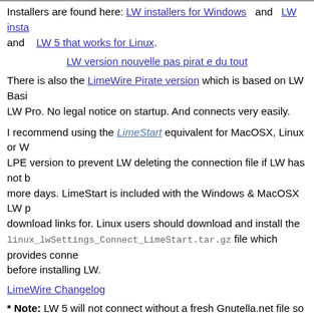Installers are found here: LW installers for Windows and LW insta... and LW 5 that works for Linux.
LW version nouvelle pas pirat e du tout
There is also the LimeWire Pirate version which is based on LW Basi... LW Pro. No legal notice on startup. And connects very easily.
I recommend using the LimeStart equivalent for MacOSX, Linux or W... LPE version to prevent LW deleting the connection file if LW has not b... more days. LimeStart is included with the Windows & MacOSX LW p... download links for. Linux users should download and install the linux_lwSettings_Connect_LimeStart.tar.gz file which provides conne... before installing LW.
LimeWire Changelog
* Note: LW 5 will not connect without a fresh Gnutella.net file so follo...
To stop the Legal notice on start window, simply click Library tab & it ... 4, simply click on the white area or do a search. The Legal Notice has been replaced with a 'You are Offline' error mes... message. What is important are the color connection bars bottom-lef... window. The main window originally connected to the official LW site ... down, so that message is irrelevant.
Attachment 6093 'You are Offline' error message.